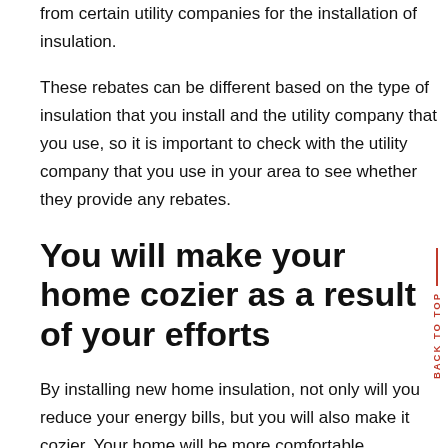from certain utility companies for the installation of insulation.
These rebates can be different based on the type of insulation that you install and the utility company that you use, so it is important to check with the utility company that you use in your area to see whether they provide any rebates.
You will make your home cozier as a result of your efforts
By installing new home insulation, not only will you reduce your energy bills, but you will also make it cozier. Your home will be more comfortable throughout the year if you invest in quality